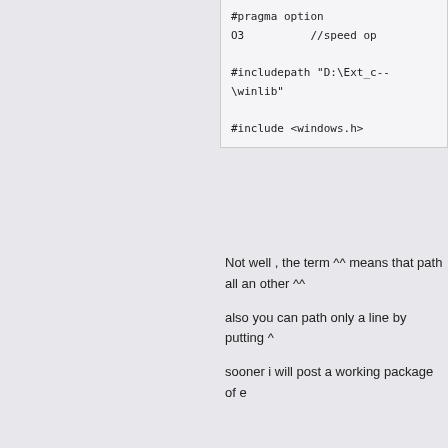#pragma option O3   //speed op

#includepath "D:\Ext_c--\winlib"

#include <windows.h>
Not well , the term ^^ means that path all an other ^^
also you can path only a line by putting ^
sooner i will post a working package of e
Gunther
Member
[Figure (photo): Fractal image avatar with blue/green swirling pattern]
Posts: 4074
Forgive your enemies, but never
Re: masm with spinx c--
« Reply #1 on: October 16, 2013, 04:13:2 »
Emil,
Quote from: Emil_halim on October 15, 2013, 11
Hi all

sorry if this is a wrong place to post this topic.